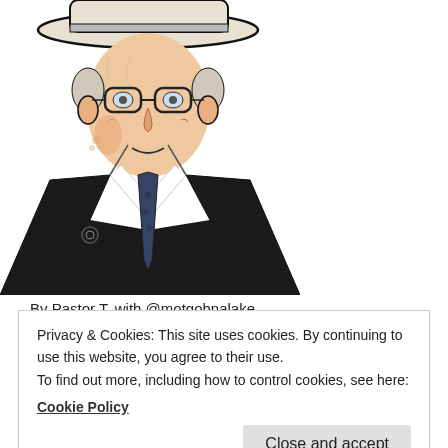[Figure (illustration): Line art / sketch illustration of an elderly man wearing a wide-brimmed hat, glasses, and a dark suit with a tie. The image is partially cropped showing head and upper torso. The style is a black-and-white sketch with some skin tone coloring on the face.]
By Pastor T. with @motgohnalake
Privacy & Cookies: This site uses cookies. By continuing to use this website, you agree to their use.
To find out more, including how to control cookies, see here:
Cookie Policy
Close and accept
are left, will be suddenly caught up together with